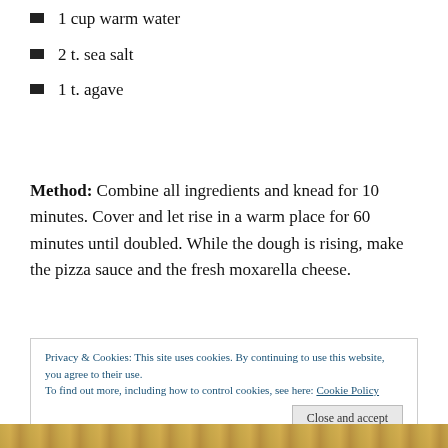1 cup warm water
2 t. sea salt
1 t. agave
Method: Combine all ingredients and knead for 10 minutes. Cover and let rise in a warm place for 60 minutes until doubled. While the dough is rising, make the pizza sauce and the fresh moxarella cheese.
Privacy & Cookies: This site uses cookies. By continuing to use this website, you agree to their use. To find out more, including how to control cookies, see here: Cookie Policy
[Figure (photo): Photo of dough or pizza at the bottom of the page]